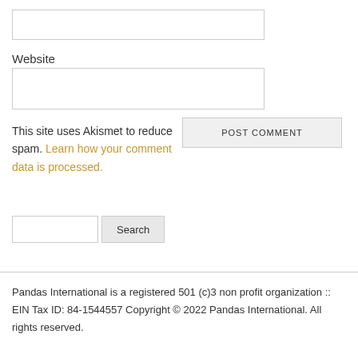[Figure (screenshot): Empty text input field (website input box at top)]
Website
[Figure (screenshot): Empty text input field for website URL]
This site uses Akismet to reduce spam. Learn how your comment data is processed.
[Figure (screenshot): POST COMMENT button]
[Figure (screenshot): Search input field and Search button]
Pandas International is a registered 501 (c)3 non profit organization :: EIN Tax ID: 84-1544557 Copyright © 2022 Pandas International. All rights reserved.